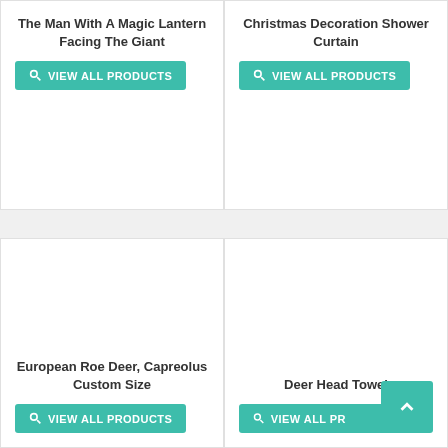The Man With A Magic Lantern Facing The Giant
VIEW ALL PRODUCTS
Christmas Decoration Shower Curtain
VIEW ALL PRODUCTS
European Roe Deer, Capreolus Custom Size
VIEW ALL PRODUCTS
Deer Head Towel
VIEW ALL PRODUCTS